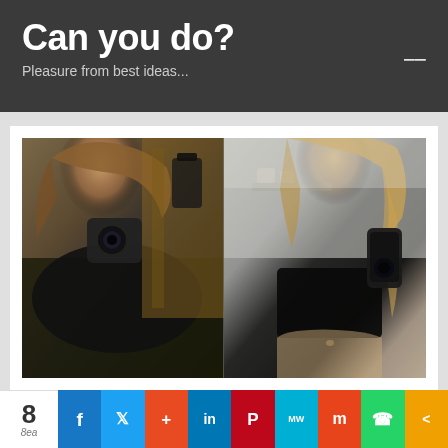Can you do?
Pleasure from best ideas...
[Figure (photo): Before and after weight loss mirror selfie comparison photos. Left photo shows a woman with a fuller figure taking a mirror selfie with a camera, in a room with wooden furniture. Right photo shows the same or similar woman with a slimmer figure taking a mirror selfie with a phone in a lighter room.]
8 shares — social share bar with Facebook, Twitter, Reddit, LinkedIn, Pinterest, MW, Mix, WhatsApp, Share buttons